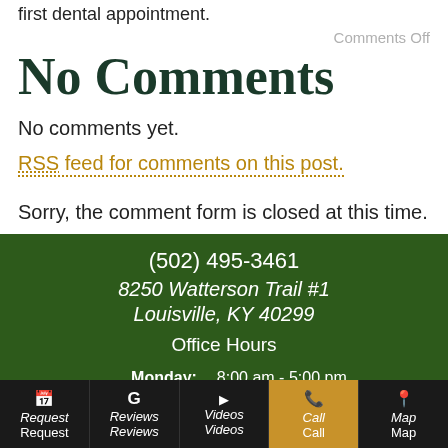first dental appointment.
Comments Off
No Comments
No comments yet.
RSS feed for comments on this post.
Sorry, the comment form is closed at this time.
(502) 495-3461
8250 Watterson Trail #1
Louisville, KY 40299
Office Hours
Monday: 8:00 am - 5:00 pm
Tuesday: 8:00 am - 5:00 pm
Wednesday: 7:30 am - ...
Thursday: 7:30 am - 4:...
Friday: 8:00 am - 2:...
Request | Reviews | Videos | Call | Map